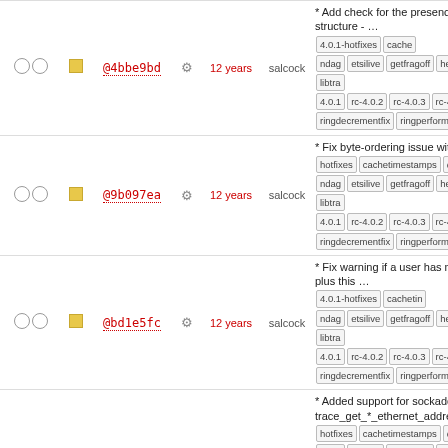| checks | icon | hash | gear | age | author | message |
| --- | --- | --- | --- | --- | --- | --- |
| ○ ○ | ■ | @4bbe9bd | ⚙ | 12 years | salcock | * Add check for the presence of structure - … [tags] |
| ○ ○ | ■ | @9b097ea | ⚙ | 12 years | salcock | * Fix byte-ordering issue with wri [tags] |
| ○ ○ | ■ | @bd1e5fc | ⚙ | 12 years | salcock | * Fix warning if a user has no co plus this … [tags] |
| ○ ○ | ■ | @3c2ddf4 | ⚙ | 12 years | salcock | * Added support for sockaddr_dl trace_get_*_ethernet_address … [tags] |
| ○ ○ | ■ | @0f6879e | ⚙ | 12 years | salcock | * Fix annoying warnings in ior-pe [tags] |
| ○ ○ | ■ | @06586ba | ⚙ | 12 years | smr26 | Clean up an unused variable wa ior-thread.c [tags] |
| ○ ○ | ■ | @afbb5dd | ⚙ | 12 ... | ... | Clean up warning about no previ strndup() when we're … [tags] |